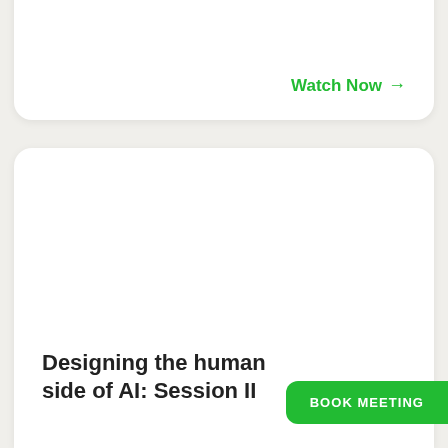Marketing
Watch Now →
Designing the human side of AI: Session II
BOOK MEETING